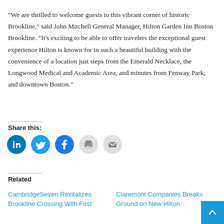“We are thrilled to welcome guests to this vibrant corner of historic Brookline,” said John Mitchell General Manager, Hilton Garden Inn Boston Brookline. “It’s exciting to be able to offer travelers the exceptional guest experience Hilton is known for in such a beautiful building with the convenience of a location just steps from the Emerald Necklace, the Longwood Medical and Academic Area, and minutes from Fenway Park, and downtown Boston.”
Share this:
[Figure (infographic): Row of social sharing icon buttons: LinkedIn (blue), Twitter (blue), Facebook (blue), Print (gray), Email (gray)]
Related
CambridgeSeven Revitalizes Brookline Crossing With First
Claremont Companies Breaks Ground on New Hilton